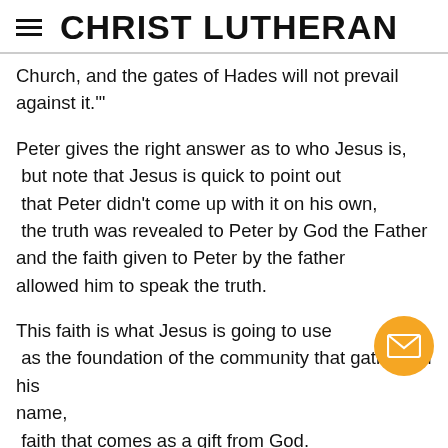CHRIST LUTHERAN
Church, and the gates of Hades will not prevail against it.'"
Peter gives the right answer as to who Jesus is, but note that Jesus is quick to point out that Peter didn't come up with it on his own, the truth was revealed to Peter by God the Father and the faith given to Peter by the father allowed him to speak the truth.
This faith is what Jesus is going to use as the foundation of the community that gathers in his name, faith that comes as a gift from God. As Paul writes in Ephesians 2:8 "For by grace you have been saved through faith, and this is not your own doing;